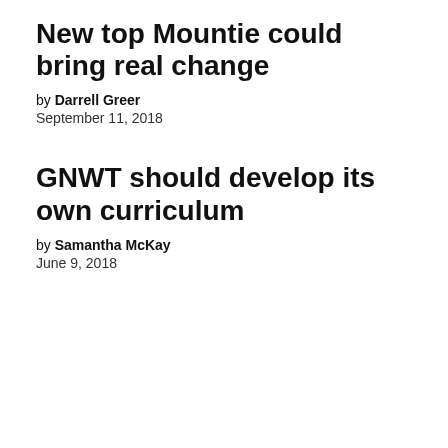New top Mountie could bring real change
by Darrell Greer
September 11, 2018
GNWT should develop its own curriculum
by Samantha McKay
June 9, 2018